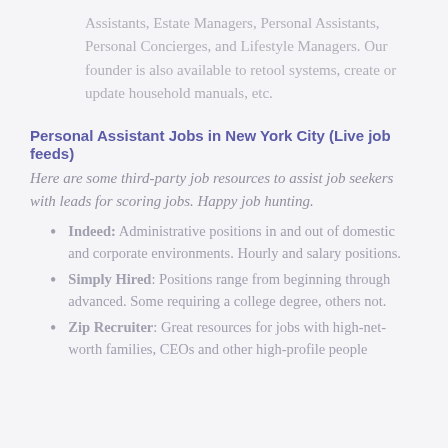Assistants, Estate Managers, Personal Assistants, Personal Concierges, and Lifestyle Managers. Our founder is also available to retool systems, create or update household manuals, etc.
Personal Assistant Jobs in New York City (Live job feeds)
Here are some third-party job resources to assist job seekers with leads for scoring jobs. Happy job hunting.
Indeed: Administrative positions in and out of domestic and corporate environments. Hourly and salary positions.
Simply Hired: Positions range from beginning through advanced. Some requiring a college degree, others not.
Zip Recruiter: Great resources for jobs with high-net-worth families, CEOs and other high-profile people